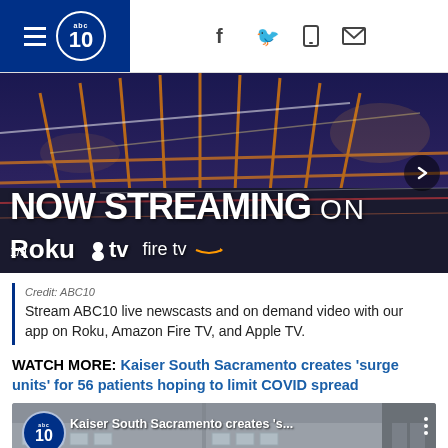abc10 — navigation bar with hamburger menu, logo, social icons (f, twitter, mobile, mail)
[Figure (screenshot): Hero banner: NOW STREAMING ON Roku Apple TV fire tv — bridge background image, slide 1/9 with next arrow]
Credit: ABC10
Stream ABC10 live newscasts and on demand video with our app on Roku, Amazon Fire TV, and Apple TV.
WATCH MORE: Kaiser South Sacramento creates 'surge units' for 56 patients hoping to limit COVID spread
[Figure (screenshot): Video thumbnail: Kaiser South Sacramento creates 's... — abc10 logo, building photo background, red play button area]